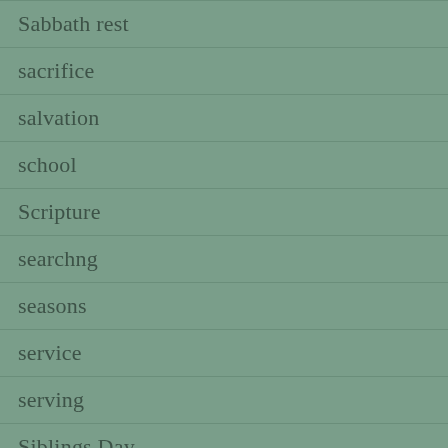Sabbath rest
sacrifice
salvation
school
Scripture
searchng
seasons
service
serving
Siblings Day
simple grace
simplicity